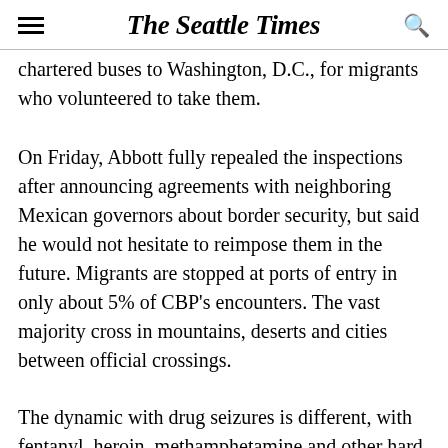The Seattle Times
chartered buses to Washington, D.C., for migrants who volunteered to take them.
On Friday, Abbott fully repealed the inspections after announcing agreements with neighboring Mexican governors about border security, but said he would not hesitate to reimpose them in the future. Migrants are stopped at ports of entry in only about 5% of CBP's encounters. The vast majority cross in mountains, deserts and cities between official crossings.
The dynamic with drug seizures is different, with fentanyl, heroin, methamphetamine and other hard narcotics being seized overwhelmingly at official crossings instead of between them. Their compact size and lack of odor make them extremely difficult